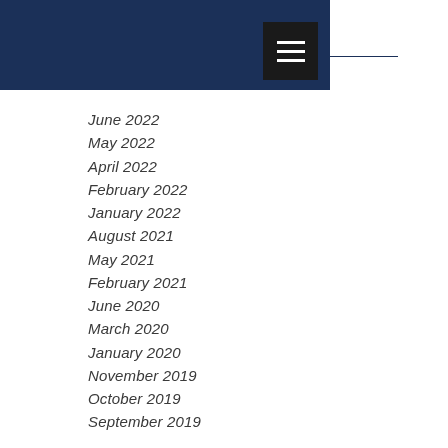[Figure (other): Dark navy blue header bar with a hamburger menu icon button and a horizontal line extending to the right]
June 2022
May 2022
April 2022
February 2022
January 2022
August 2021
May 2021
February 2021
June 2020
March 2020
January 2020
November 2019
October 2019
September 2019